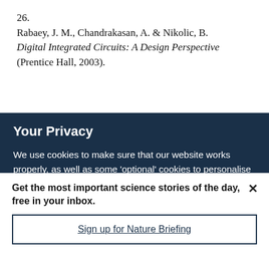26. Rabaey, J. M., Chandrakasan, A. & Nikolic, B. Digital Integrated Circuits: A Design Perspective (Prentice Hall, 2003).
Your Privacy
We use cookies to make sure that our website works properly, as well as some 'optional' cookies to personalise content and advertising, provide social media features and analyse how people use our site. By accepting some or all optional cookies you give consent to the processing of your personal data, including transfer to third parties, some in countries outside of the European Economic Area that do not offer the same data protection standards as the country where you live. You can decide which optional cookies to accept by clicking on 'Manage Settings', where you can
Get the most important science stories of the day, free in your inbox.
Sign up for Nature Briefing